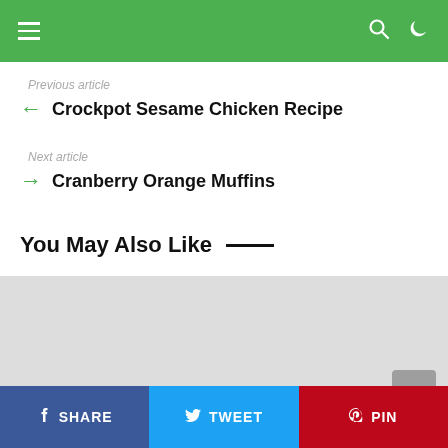Navigation bar with menu, search, and dark mode icons
Previous article
Crockpot Sesame Chicken Recipe
Next article
Cranberry Orange Muffins
You May Also Like
[Figure (photo): Gray placeholder image area]
SHARE   TWEET   PIN